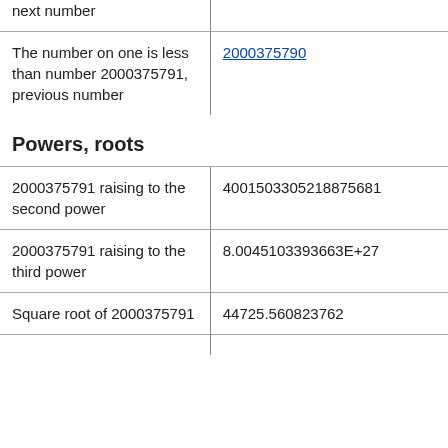| next number |  |
| The number on one is less than number 2000375791, previous number | 2000375790 |
Powers, roots
| 2000375791 raising to the second power | 4001503305218875681 |
| 2000375791 raising to the third power | 8.0045103393663E+27 |
| Square root of 2000375791 | 44725.560823762 |